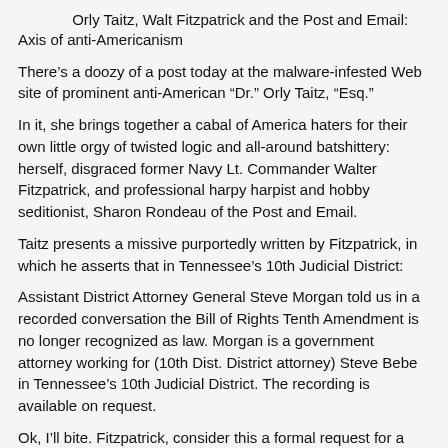Orly Taitz, Walt Fitzpatrick and the Post and Email: Axis of anti-Americanism
There’s a doozy of a post today at the malware-infested Web site of prominent anti-American “Dr.” Orly Taitz, “Esq.”
In it, she brings together a cabal of America haters for their own little orgy of twisted logic and all-around batshittery: herself, disgraced former Navy Lt. Commander Walter Fitzpatrick, and professional harpy harpist and hobby seditionist, Sharon Rondeau of the Post and Email.
Taitz presents a missive purportedly written by Fitzpatrick, in which he asserts that in Tennessee’s 10th Judicial District:
Assistant District Attorney General Steve Morgan told us in a recorded conversation the Bill of Rights Tenth Amendment is no longer recognized as law. Morgan is a government attorney working for (10th Dist. District attorney) Steve Bebe in Tennessee’s 10th Judicial District. The recording is available on request.
Ok, I’ll bite. Fitzpatrick, consider this a formal request for a copy of the recording. You can reach me through the